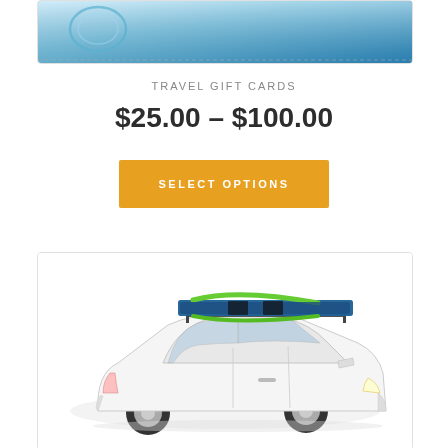[Figure (photo): Partial view of a travel gift card with blue gradient background and circular logo element]
TRAVEL GIFT CARDS
$25.00 – $100.00
SELECT OPTIONS
[Figure (photo): White sedan car with snowboard mounted on roof rack with green straps, photographed from the side on a white background]